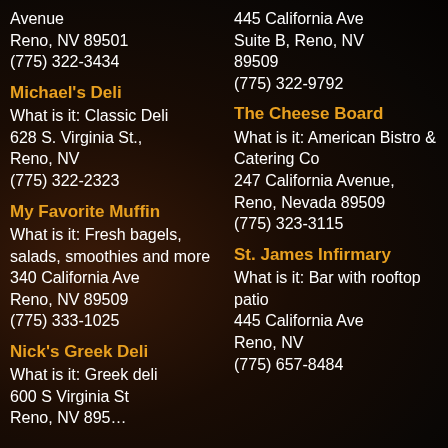Avenue
Reno, NV 89501
(775) 322-3434
445 California Ave
Suite B, Reno, NV
89509
(775) 322-9792
Michael's Deli
What is it: Classic Deli
628 S. Virginia St.,
Reno, NV
(775) 322-2323
The Cheese Board
What is it: American Bistro & Catering Co
247 California Avenue,
Reno, Nevada 89509
(775) 323-3115
My Favorite Muffin
What is it: Fresh bagels, salads, smoothies and more
340 California Ave
Reno, NV 89509
(775) 333-1025
St. James Infirmary
What is it: Bar with rooftop patio
445 California Ave
Reno, NV
(775) 657-8484
Nick's Greek Deli
What is it: Greek deli
600 S Virginia St
Reno, NV 895…